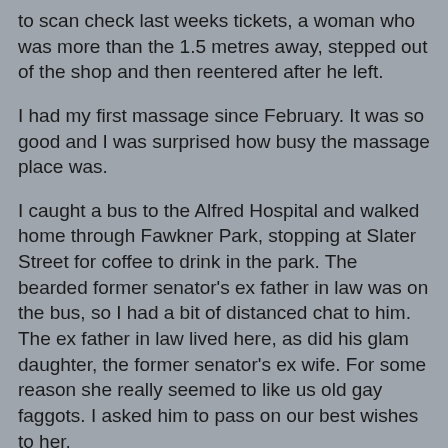to scan check last weeks tickets, a woman who was more than the 1.5 metres away, stepped out of the shop and then reentered after he left.
I had my first massage since February. It was so good and I was surprised how busy the massage place was.
I caught a bus to the Alfred Hospital and walked home through Fawkner Park, stopping at Slater Street for coffee to drink in the park. The bearded former senator's ex father in law was on the bus, so I had a bit of distanced chat to him. The ex father in law lived here, as did his glam daughter, the former senator's ex wife. For some reason she really seemed to like us old gay faggots. I asked him to pass on our best wishes to her.
Four days ago was a day of no new COVID infections in my state Victoria. Monday was another day of zero infections. Most cases of the latest infections are returning travellers from overseas. Most states haven't seen any new cases for weeks, so what have we done right?